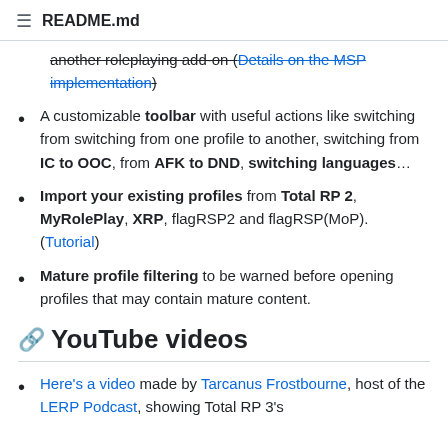README.md
another roleplaying add-on (Details on the MSP implementation)
A customizable toolbar with useful actions like switching from switching from one profile to another, switching from IC to OOC, from AFK to DND, switching languages…
Import your existing profiles from Total RP 2, MyRolePlay, XRP, flagRSP2 and flagRSP(MoP). (Tutorial)
Mature profile filtering to be warned before opening profiles that may contain mature content.
YouTube videos
Here's a video made by Tarcanus Frostbourne, host of the LERP Podcast, showing Total RP 3's